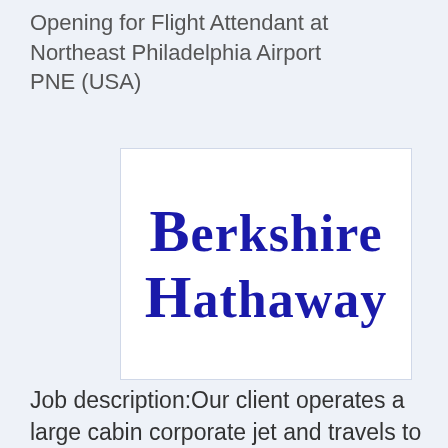Opening for Flight Attendant at Northeast Philadelphia Airport PNE (USA)
[Figure (logo): Berkshire Hathaway company logo in dark blue serif font on white background]
Job description:Our client operates a large cabin corporate jet and travels to